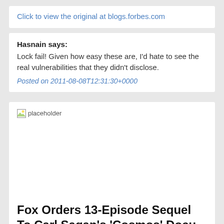Click to view the original at blogs.forbes.com
Hasnain says:
Lock fail! Given how easy these are, I'd hate to see the real vulnerabilities that they didn't disclose.
Posted on 2011-08-08T12:31:30+0000
[Figure (photo): Placeholder image thumbnail for article]
Fox Orders 13-Episode Sequel To Carl Sagan's 'Cosmos' Docu-Series With Seth MacFarlane Producing For